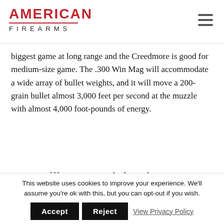AMERICAN FIREARMS
biggest game at long range and the Creedmore is good for medium-size game. The .300 Win Mag will accommodate a wide array of bullet weights, and it will move a 200-grain bullet almost 3,000 feet per second at the muzzle with almost 4,000 foot-pounds of energy.
.50 Caliber Muzzleloader
Big-game hunters will appreciate having a .50
This website uses cookies to improve your experience. We'll assume you're ok with this, but you can opt-out if you wish.